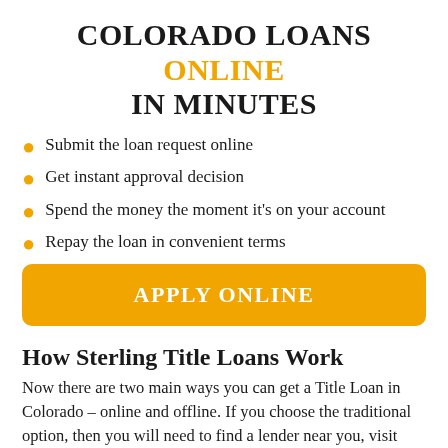COLORADO LOANS ONLINE IN MINUTES
Submit the loan request online
Get instant approval decision
Spend the money the moment it's on your account
Repay the loan in convenient terms
APPLY ONLINE
How Sterling Title Loans Work
Now there are two main ways you can get a Title Loan in Colorado – online and offline. If you choose the traditional option, then you will need to find a lender near you, visit their physical location, and go through a vehicle inspection. Generally, experts will